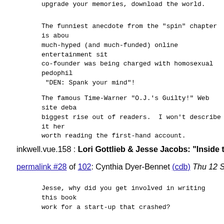upgrade your memories, download the world.
The funniest anecdote from the "spin" chapter is about a much-hyped (and much-funded) online entertainment site whose co-founder was being charged with homosexual pedophil... "DEN: Spank your mind"!
The famous Time-Warner "O.J.'s Guilty!" Web site deba... biggest rise out of readers. I won't describe it her... worth reading the first-hand account.
inkwell.vue.158 : Lori Gottlieb & Jesse Jacobs: "Inside th..."
permalink #28 of 102: Cynthia Dyer-Bennet (cdb) Thu 12 Sep 02
Jesse, why did you get involved in writing this book ... work for a start-up that crashed?
inkwell.vue.158 : Lori Gottlieb & Jesse Jacobs: "Inside th..."
permalink #29 of 102: Lori Gottlieb (lgottlieb) Thu 12 Sep 02 21
Actually, Jesse worked at a startup that still exists... was co-founded Kevin Wendle, who, with Barry Diller, ... Broadcasting Network.
The book idea came up after Jesse saw my Industry Sta...